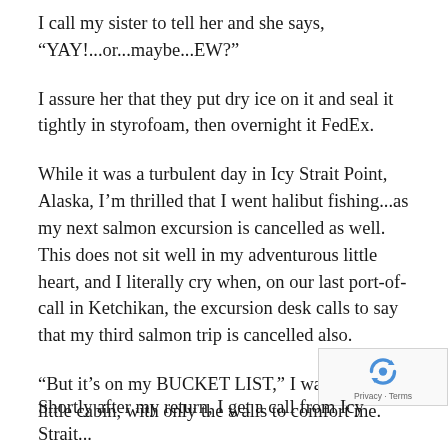I call my sister to tell her and she says, “YAY!...or...maybe...EW?”
I assure her that they put dry ice on it and seal it tightly in styrofoam, then overnight it FedEx.
While it was a turbulent day in Icy Strait Point, Alaska, I’m thrilled that I went halibut fishing...as my next salmon excursion is cancelled as well. This does not sit well in my adventurous little heart, and I literally cry when, on our last port-of-call in Ketchikan, the excursion desk calls to say that my third salmon trip is cancelled also.
“But it’s on my BUCKET LIST,” I wail in my little cabin, with only the walls to comfort me.
Shortly after my return, I get a call from Icy Strait...